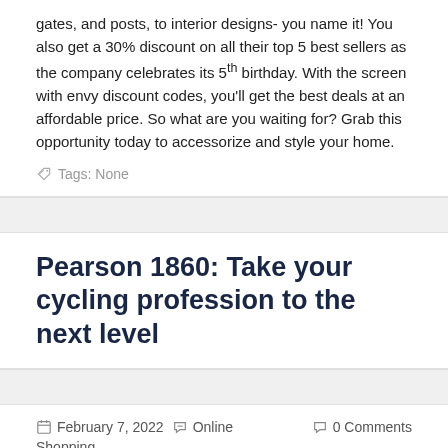gates, and posts, to interior designs- you name it! You also get a 30% discount on all their top 5 best sellers as the company celebrates its 5th birthday. With the screen with envy discount codes, you'll get the best deals at an affordable price. So what are you waiting for? Grab this opportunity today to accessorize and style your home.
Tags: None
Pearson 1860: Take your cycling profession to the next level
February 7, 2022  Online  0 Comments  Shopping
The term 'professional cycling' is usually accompanied by